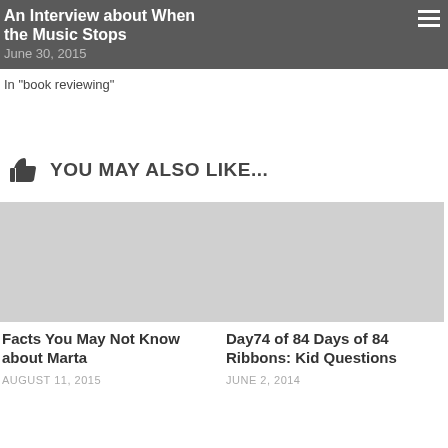An Interview about When the Music Stops
June 30, 2015
In "book reviewing"
YOU MAY ALSO LIKE...
[Figure (photo): Gray placeholder image for Facts You May Not Know about Marta]
Facts You May Not Know about Marta
AUGUST 11, 2015
[Figure (photo): Gray placeholder image for Day74 of 84 Days of 84 Ribbons: Kid Questions]
Day74 of 84 Days of 84 Ribbons: Kid Questions
JUNE 2, 2014